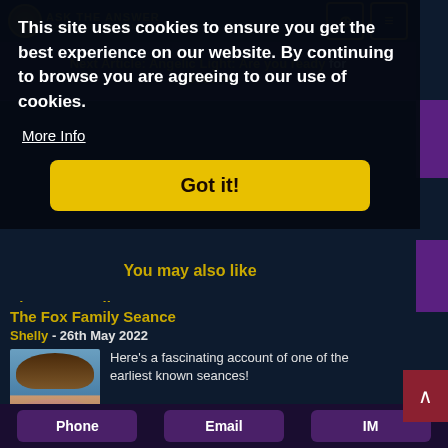ASK THE ANSWER YOUR SPIRITUAL FAMILY
This site uses cookies to ensure you get the best experience on our website. By continuing to browse you are agreeing to our use of cookies.
More Info
Got it!
You may also like
Next Article: Angelic Light: Are you ready for love?
The Fox Family Seance
Shelly - 26th May 2022
[Figure (photo): Thumbnail photo of a person with short hair against a blue sky background]
Here's a fascinating account of one of the earliest known seances!
Read More
Synastry and Frequencies
Janey - 19th May 2022
Phone   Email   IM